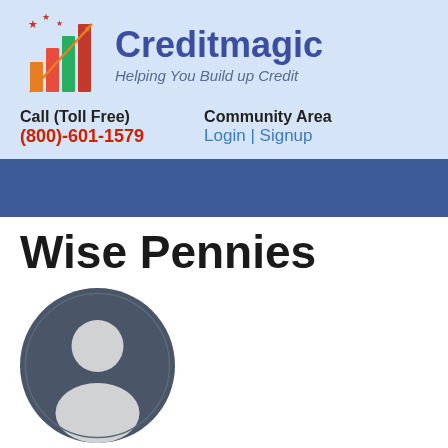[Figure (logo): Creditmagic logo with bar chart graphic and stars, tagline: Helping You Build up Credit]
Call (Toll Free)
(800)-601-1579
Community Area
Login | Signup
Wise Pennies
[Figure (illustration): Generic user avatar silhouette in dark grey circle]
Submitted by August on Thu, 01/17/2008 - 16:54